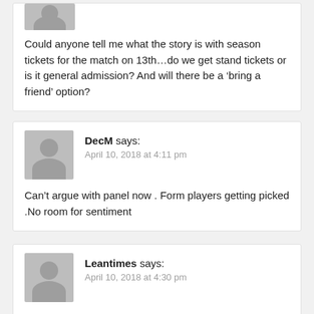Could anyone tell me what the story is with season tickets for the match on 13th...do we get stand tickets or is it general admission? And will there be a ‘bring a friend’ option?
DecM says: April 10, 2018 at 4:11 pm
Can’t argue with panel now . Form players getting picked .No room for sentiment
Leantimes says: April 10, 2018 at 4:30 pm
AnnMarie Livinhope.. Agree with your take on Kevin Keane, when he rejoined the Mayo panel in January,.. I taught he’d be